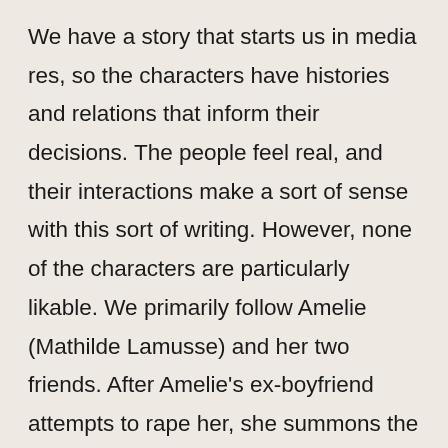We have a story that starts us in media res, so the characters have histories and relations that inform their decisions. The people feel real, and their interactions make a sort of sense with this sort of writing. However, none of the characters are particularly likable. We primarily follow Amelie (Mathilde Lamusse) and her two friends. After Amelie's ex-boyfriend attempts to rape her, she summons the ancient spirit of Kandisha, a Moroccan demon to kill him. Kandisha completes the task, but also targets other men the women know.

The three have to figure out a way to undo the